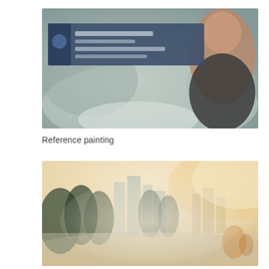[Figure (photo): A blurred book cover or instructional material showing a person (man smiling) on the right side and text/title in a dark blue banner overlay on the left, with a muted green-grey background scene below.]
Reference painting
[Figure (photo): A blurred watercolor or painting depicting an urban cityscape scene with trees, buildings, and figures in soft warm and cool tones — creamy sky, dark green foliage, and architectural structures.]